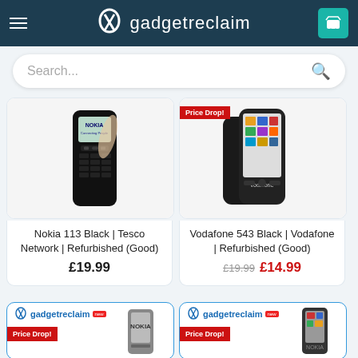gadgetreclaim
Search...
[Figure (photo): Nokia 113 Black phone product image]
Nokia 113 Black | Tesco Network | Refurbished (Good)
£19.99
[Figure (photo): Vodafone 543 Black phone product image with Price Drop badge]
Vodafone 543 Black | Vodafone | Refurbished (Good)
£19.99  £14.99
[Figure (photo): Partial product card with gadgetreclaim logo and Price Drop badge, Nokia phone]
[Figure (photo): Partial product card with gadgetreclaim logo and Price Drop badge, Nokia phone]